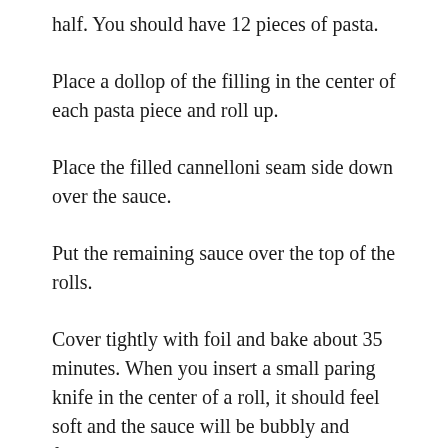half. You should have 12 pieces of pasta.
Place a dollop of the filling in the center of each pasta piece and roll up.
Place the filled cannelloni seam side down over the sauce.
Put the remaining sauce over the top of the rolls.
Cover tightly with foil and bake about 35 minutes. When you insert a small paring knife in the center of a roll, it should feel soft and the sauce will be bubbly and fragrant! Uncover and cook about 5–10 minutes more and the rolls